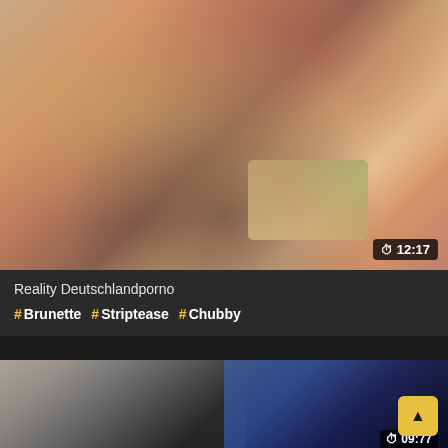[Figure (screenshot): Video thumbnail showing close-up of people, warm tones, blurred]
⏱ 12:17
Reality Deutschlandporno
# Brunette # Striptease # Chubby
[Figure (screenshot): Second video thumbnail with dark tones and blue clothing, blurred]
⏱ 09:77